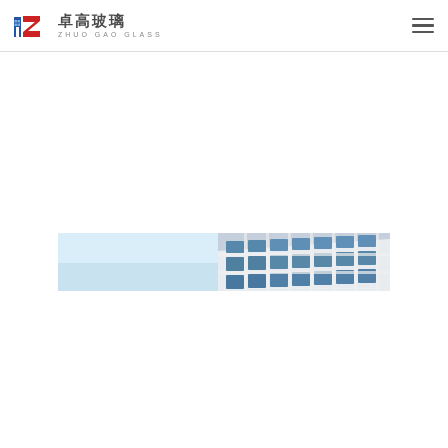[Figure (logo): Zhuo Gao Glass company logo with Chinese characters 卓高玻璃 and English text ZHUO GAO GLASS, with a red and blue building icon]
[Figure (photo): Partial photograph of a modern multi-story glass office building facade under a clear blue sky, with repeating window panels and white structural elements]